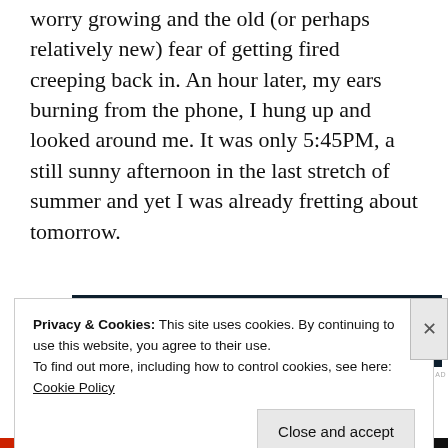worry growing and the old (or perhaps relatively new) fear of getting fired creeping back in. An hour later, my ears burning from the phone, I hung up and looked around me. It was only 5:45PM, a still sunny afternoon in the last stretch of summer and yet I was already fretting about tomorrow.
[Figure (other): Advertisement banner for WordPress/Freshly WordPress: dark navy background with text 'Opinions. We all have them!' and WordPress and Freshly logos on the right.]
REPORT THIS AD
Privacy & Cookies: This site uses cookies. By continuing to use this website, you agree to their use.
To find out more, including how to control cookies, see here: Cookie Policy
Close and accept